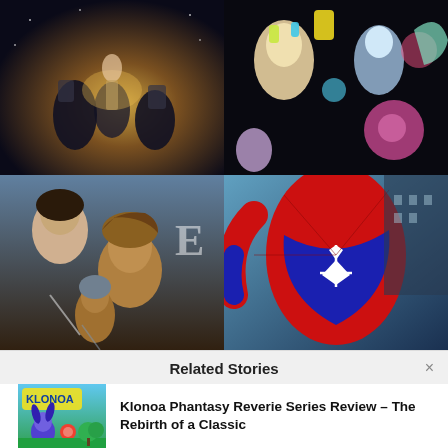[Figure (photo): Sci-fi game cover art with characters in dramatic golden light]
[Figure (photo): Colorful animated characters on a dark background]
[Figure (photo): Medieval fantasy game cover with warriors, partially visible letter 'E']
[Figure (photo): Spider-Man in a red and blue suit close-up action shot]
Related Stories
[Figure (photo): Klonoa Phantasy Reverie Series game cover thumbnail]
Klonoa Phantasy Reverie Series Review – The Rebirth of a Classic